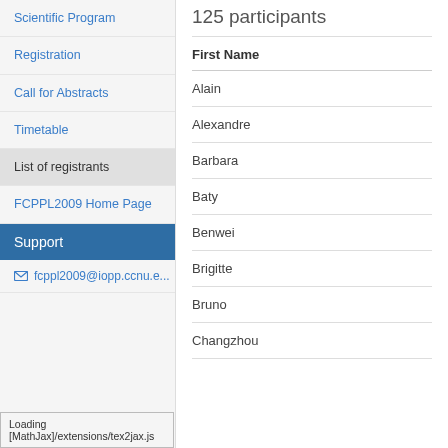Scientific Program
Registration
Call for Abstracts
Timetable
List of registrants
FCPPL2009 Home Page
Support
fcppl2009@iopp.ccnu.e...
125 participants
| First Name |
| --- |
| Alain |
| Alexandre |
| Barbara |
| Baty |
| Benwei |
| Brigitte |
| Bruno |
| Changzhou |
Loading [MathJax]/extensions/tex2jax.js